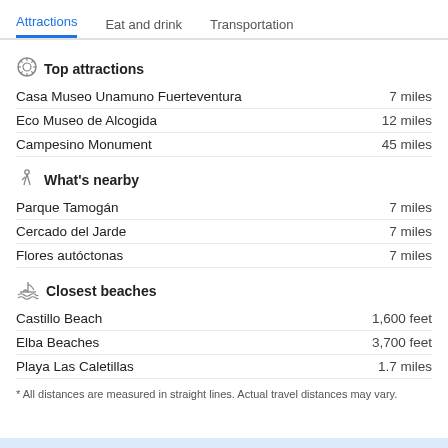Attractions  Eat and drink  Transportation
Top attractions
Casa Museo Unamuno Fuerteventura  7 miles
Eco Museo de Alcogida  12 miles
Campesino Monument  45 miles
What's nearby
Parque Tamogán  7 miles
Cercado del Jarde  7 miles
Flores autóctonas  7 miles
Closest beaches
Castillo Beach  1,600 feet
Elba Beaches  3,700 feet
Playa Las Caletillas  1.7 miles
* All distances are measured in straight lines. Actual travel distances may vary.